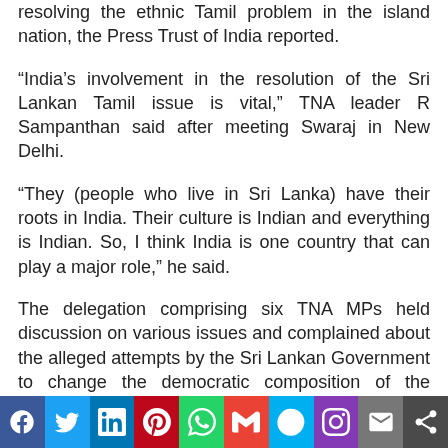resolving the ethnic Tamil problem in the island nation, the Press Trust of India reported.
“India’s involvement in the resolution of the Sri Lankan Tamil issue is vital,” TNA leader R Sampanthan said after meeting Swaraj in New Delhi.
“They (people who live in Sri Lanka) have their roots in India. Their culture is Indian and everything is Indian. So, I think India is one country that can play a major role,” he said.
The delegation comprising six TNA MPs held discussion on various issues and complained about the alleged attempts by the Sri Lankan Government to change the democratic composition of the northern province.
“We have explained the position currently prevalent on the ground in the north and the east… The difficulties people are facing, the aggressive program implemented by the Sri
[Figure (infographic): Social media share bar with icons: Facebook, Twitter, LinkedIn, Pinterest, WhatsApp, Gmail, Skype, Instagram, Email, Share]